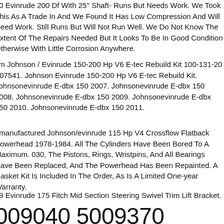00 Evinrude 200 Df With 25" Shaft- Runs But Needs Work. We Took This As A Trade In And We Found It Has Low Compression And Will Need Work. Still Runs But Will Not Run Well. We Do Not Know The Extent Of The Repairs Needed But It Looks To Be In Good Condition Otherwise With Little Corrosion Anywhere.
sm Johnson / Evinrude 150-200 Hp V6 E-tec Rebuild Kit 100-131-20 - 07541. Johnson Evinrude 150-200 Hp V6 E-tec Rebuild Kit. Johnsonevinrude E-dbx 150 2007. Johnsonevinrude E-dbx 150 2008. Johnsonevinrude E-dbx 150 2009. Johnsonevinrude E-dbx 150 2010. Johnsonevinrude E-dbx 150 2011.
emanufactured Johnson/evinrude 115 Hp V4 Crossflow Flatback Powerhead 1978-1984. All The Cylinders Have Been Bored To A Maximum. 030, The Pistons, Rings, Wristpins, And All Bearings Have Been Replaced, And The Powerhead Has Been Repainted. A Gasket Kit Is Included In The Order, As Is A Limited One-year Warranty.
99 Evinrude 175 Fitch Mid Section Steering Swivel Trim Lift Bracket.
009040 5009370 Pistons For 008396 0354890 250ho 300 G2